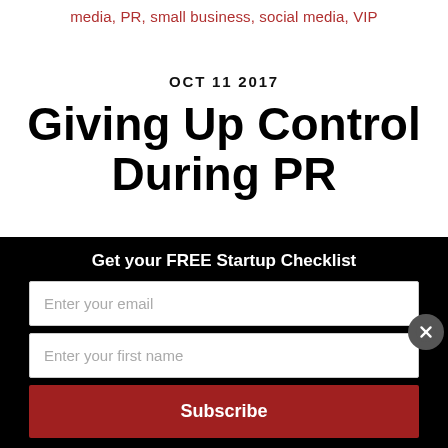media, PR, small business, social media, VIP
OCT 11 2017
Giving Up Control During PR
Get your FREE Startup Checklist
Enter your email
Enter your first name
Subscribe